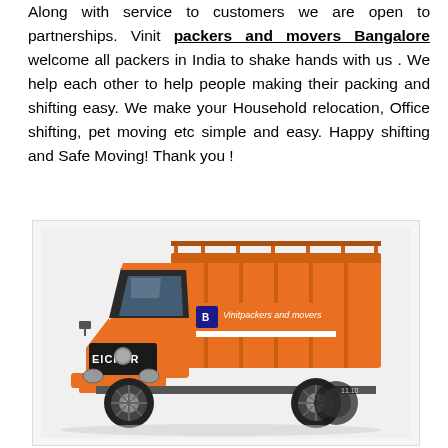Along with service to customers we are open to partnerships. Vinit packers and movers Bangalore welcome all packers in India to shake hands with us . We help each other to help people making their packing and shifting easy. We make your Household relocation, Office shifting, pet moving etc simple and easy. Happy shifting and Safe Moving! Thank you !
[Figure (photo): An orange Eicher truck branded with 'Vinitpackers and movers' text on the cargo area side, shown in a product photo style against a light background.]